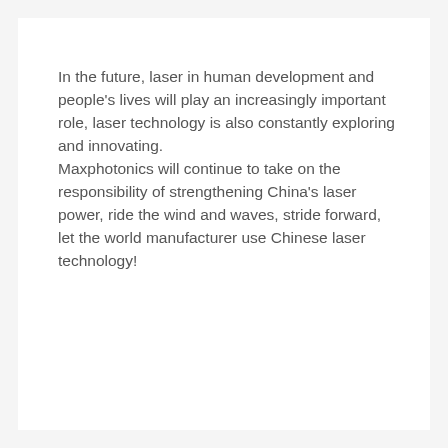In the future, laser in human development and people's lives will play an increasingly important role, laser technology is also constantly exploring and innovating. Maxphotonics will continue to take on the responsibility of strengthening China's laser power, ride the wind and waves, stride forward, let the world manufacturer use Chinese laser technology!